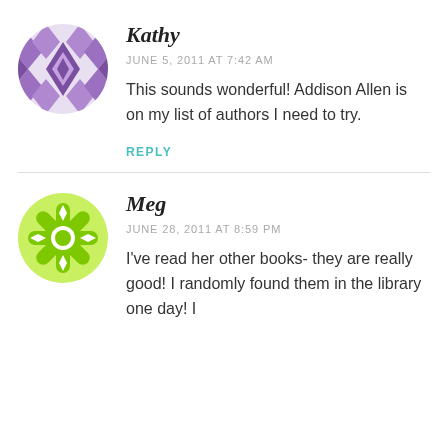[Figure (illustration): Purple geometric/diamond pattern avatar circle for user Kathy]
Kathy
JUNE 5, 2011 AT 7:42 AM
This sounds wonderful! Addison Allen is on my list of authors I need to try.
REPLY
[Figure (illustration): Green snowflake/flower pattern avatar circle for user Meg]
Meg
JUNE 28, 2011 AT 8:59 PM
I've read her other books- they are really good! I randomly found them in the library one day! I